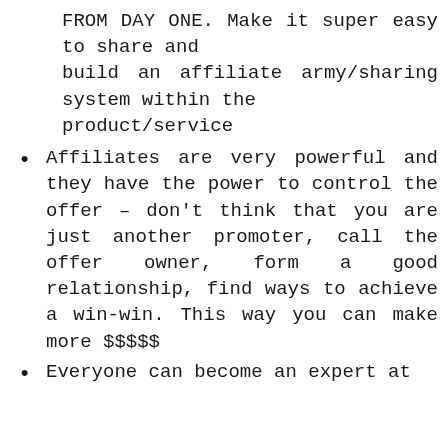FROM DAY ONE. Make it super easy to share and build an affiliate army/sharing system within the product/service
Affiliates are very powerful and they have the power to control the offer – don't think that you are just another promoter, call the offer owner, form a good relationship, find ways to achieve a win-win. This way you can make more $$$$$
Everyone can become an expert at